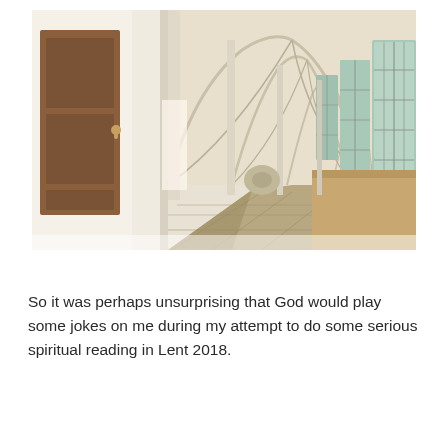[Figure (photo): A monastery or cathedral cloister corridor with Gothic vaulted ceilings, a wooden door on the left, tall latticed windows on the right, and a stone-floored hallway receding into the distance.]
So it was perhaps unsurprising that God would play some jokes on me during my attempt to do some serious spiritual reading in Lent 2018.